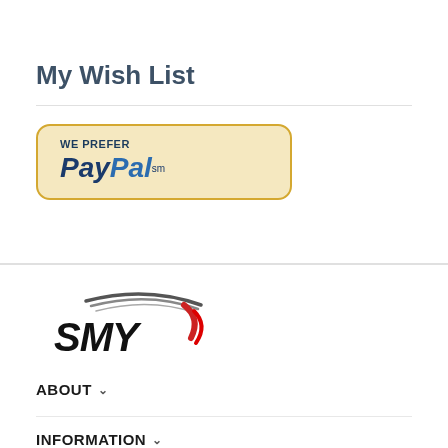My Wish List
[Figure (logo): PayPal 'We Prefer PayPal' badge with gold border and cream background]
[Figure (logo): SMY brand logo with stylized lettering and red/dark swoosh graphic]
ABOUT
INFORMATION